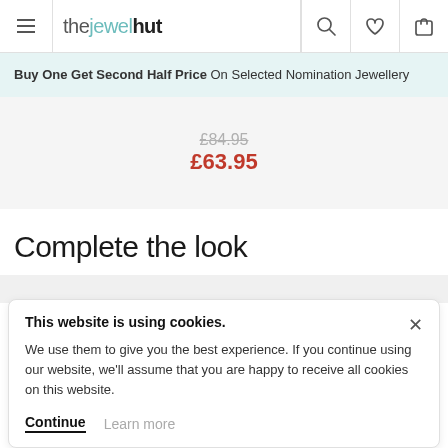the jewel hut (navigation bar with logo, search, wishlist, and cart icons)
Buy One Get Second Half Price On Selected Nomination Jewellery
£84.95 £63.95
Complete the look
This website is using cookies. We use them to give you the best experience. If you continue using our website, we'll assume that you are happy to receive all cookies on this website.
Continue  Learn more